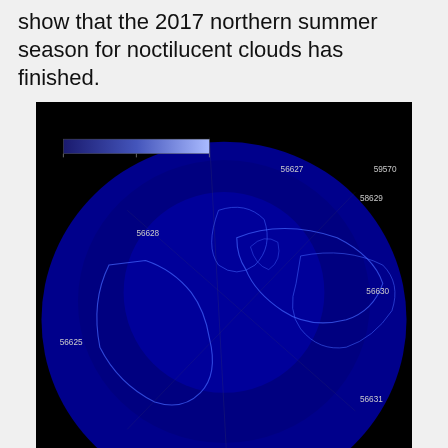images from AIM's FUV spectrometer show that the 2017 northern summer season for noctilucent clouds has finished.
[Figure (photo): Satellite/spacecraft polar projection map image showing noctilucent cloud data with numbered orbit tracks (56627, 59570, 58629, 56628, 56630, 56625, 56631) and a blue colorbar/scale, on a dark background with continental outlines in blue]
http://www.spaceweather.com/archive.php?view=1&day=15&month=09&year=2017
[Figure (photo): Night sky photograph with green and teal aurora/noctilucent cloud glow near horizon, scattered stars visible, with watermark signature 'Yuichi Takasaka' and 'WWW.BLUE-MOON.CA']